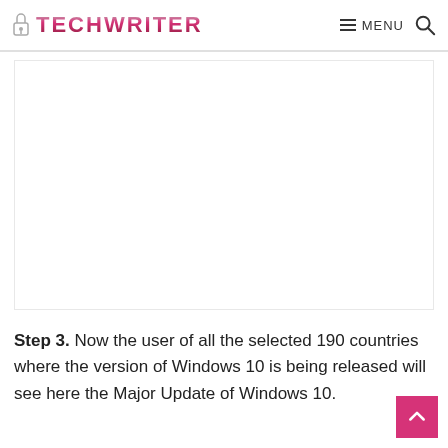TECHWRITER — MENU
[Figure (other): Advertisement or image placeholder area (white rectangle with border)]
Step 3. Now the user of all the selected 190 countries where the version of Windows 10 is being released will see here the Major Update of Windows 10.